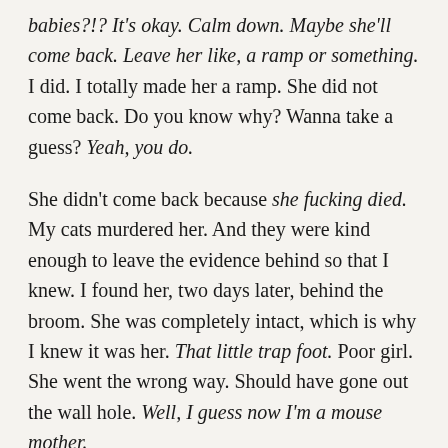babies?!? It's okay. Calm down. Maybe she'll come back. Leave her like, a ramp or something. I did. I totally made her a ramp. She did not come back. Do you know why? Wanna take a guess? Yeah, you do.
She didn't come back because she fucking died. My cats murdered her. And they were kind enough to leave the evidence behind so that I knew. I found her, two days later, behind the broom. She was completely intact, which is why I knew it was her. That little trap foot. Poor girl. She went the wrong way. Should have gone out the wall hole. Well, I guess now I'm a mouse mother.